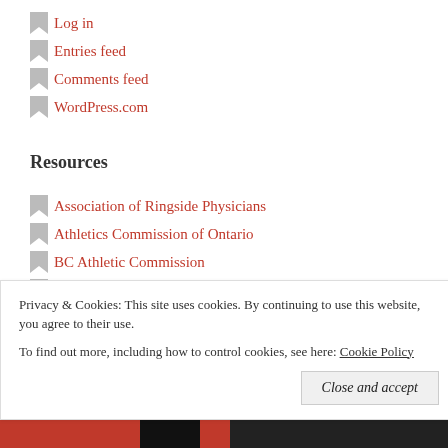Log in
Entries feed
Comments feed
WordPress.com
Resources
Association of Ringside Physicians
Athletics Commission of Ontario
BC Athletic Commission
BC Athletic Commissioner Act
Boxing BC
Privacy & Cookies: This site uses cookies. By continuing to use this website, you agree to their use. To find out more, including how to control cookies, see here: Cookie Policy
Close and accept